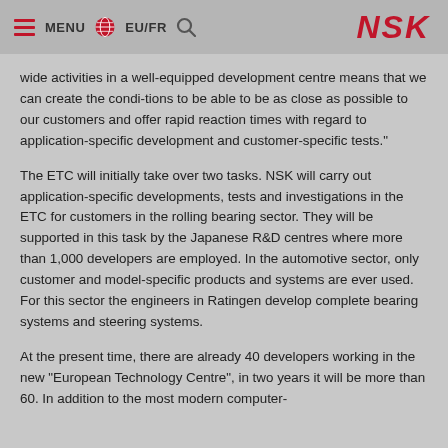MENU  EU/FR  NSK
wide activities in a well-equipped development centre means that we can create the condi-tions to be able to be as close as possible to our customers and offer rapid reaction times with regard to application-specific development and customer-specific tests."
The ETC will initially take over two tasks. NSK will carry out application-specific developments, tests and investigations in the ETC for customers in the rolling bearing sector. They will be supported in this task by the Japanese R&D centres where more than 1,000 developers are employed. In the automotive sector, only customer and model-specific products and systems are ever used. For this sector the engineers in Ratingen develop complete bearing systems and steering systems.
At the present time, there are already 40 developers working in the new "European Technology Centre", in two years it will be more than 60. In addition to the most modern computer-